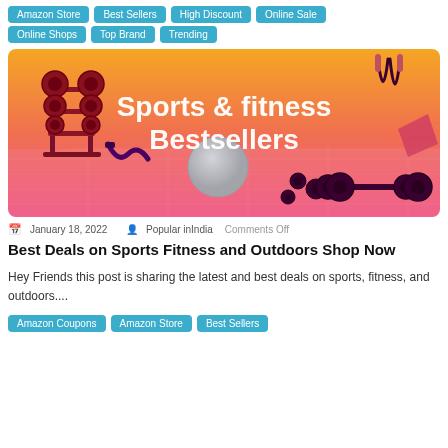Amazon Store | Best Sellers | High Discount | Online Sale | Online Shops | Top Brand | Trending
[Figure (illustration): Sports & fitness Bestsellers banner image with gradient background (yellow-orange to pink) featuring fitness equipment: weight plates on rack, resistance bands, exercise ball, barbell, jump rope]
January 18, 2022   Popular inIndia   Comments Off
Best Deals on Sports Fitness and Outdoors Shop Now
Hey Friends this post is sharing the latest and best deals on sports, fitness, and outdoors....
Amazon Coupons | Amazon Store | Best Sellers